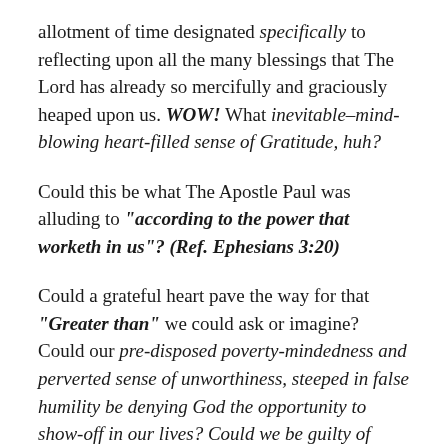allotment of time designated specifically to reflecting upon all the many blessings that The Lord has already so mercifully and graciously heaped upon us. WOW! What inevitable–mind-blowing heart-filled sense of Gratitude, huh?
Could this be what The Apostle Paul was alluding to "according to the power that worketh in us"? (Ref. Ephesians 3:20)
Could a grateful heart pave the way for that "Greater than" we could ask or imagine? Could our pre-disposed poverty-mindedness and perverted sense of unworthiness, steeped in false humility be denying God the opportunity to show-off in our lives? Could we be guilty of having a form of